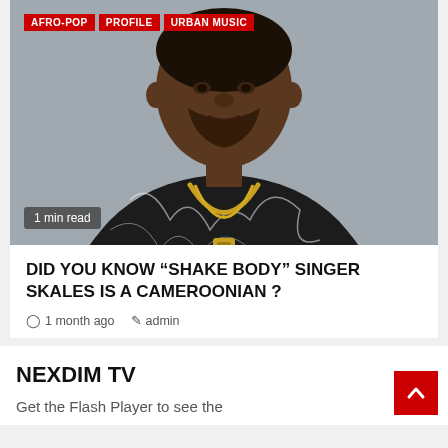[Figure (photo): Photo of singer Skales wearing a black and white patterned long-sleeve shirt with gold chain necklaces, against a grey background. Tags overlay the top: AFRO-POP, PROFILE, URBAN MUSIC. Bottom left shows '1 min read' badge.]
DID YOU KNOW “SHAKE BODY” SINGER SKALES IS A CAMEROONIAN ?
1 month ago   admin
NEXDIM TV
Get the Flash Player to see the